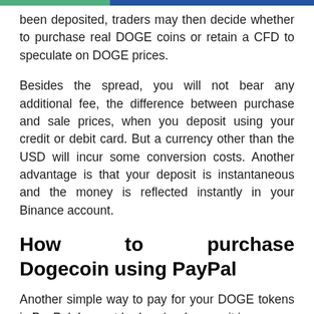been deposited, traders may then decide whether to purchase real DOGE coins or retain a CFD to speculate on DOGE prices.
Besides the spread, you will not bear any additional fee, the difference between purchase and sale prices, when you deposit using your credit or debit card. But a currency other than the USD will incur some conversion costs. Another advantage is that your deposit is instantaneous and the money is reflected instantly in your Binance account.
How to purchase Dogecoin using PayPal
Another simple way to pay for your DOGE tokens is PayPal. In most brokers/exchanges it is